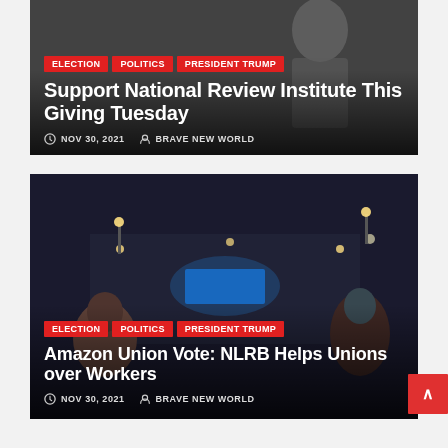[Figure (photo): Black and white photo of a person in a suit, used as card background for National Review Institute article]
ELECTION | POLITICS | PRESIDENT TRUMP
Support National Review Institute This Giving Tuesday
NOV 30, 2021  BRAVE NEW WORLD
[Figure (photo): Night photo of Amazon warehouse exterior with blue logo signage and workers in foreground]
ELECTION | POLITICS | PRESIDENT TRUMP
Amazon Union Vote: NLRB Helps Unions over Workers
NOV 30, 2021  BRAVE NEW WORLD